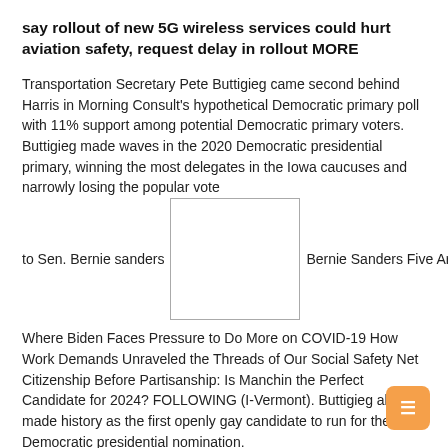say rollout of new 5G wireless services could hurt aviation safety, request delay in rollout MORE
Transportation Secretary Pete Buttigieg came second behind Harris in Morning Consult's hypothetical Democratic primary poll with 11% support among potential Democratic primary voters. Buttigieg made waves in the 2020 Democratic presidential primary, winning the most delegates in the Iowa caucuses and narrowly losing the popular vote
to Sen. Bernie sanders
[Figure (photo): Placeholder image box (image of Bernie Sanders)]
Bernie Sanders Five Areas
Where Biden Faces Pressure to Do More on COVID-19 How Work Demands Unraveled the Threads of Our Social Safety Net Citizenship Before Partisanship: Is Manchin the Perfect Candidate for 2024? FOLLOWING (I-Vermont). Buttigieg also made history as the first openly gay candidate to run for the Democratic presidential nomination.
However, like Harris, Buttigieg brushed aside the gossip of 2024.